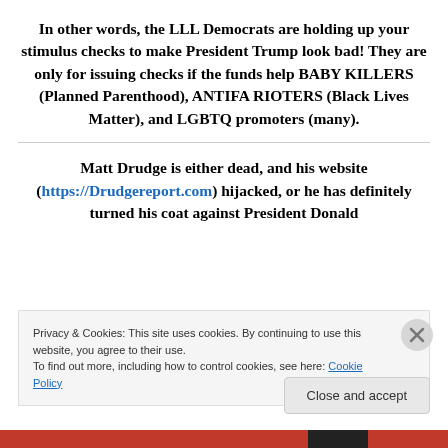In other words, the LLL Democrats are holding up your stimulus checks to make President Trump look bad! They are only for issuing checks if the funds help BABY KILLERS (Planned Parenthood), ANTIFA RIOTERS (Black Lives Matter), and LGBTQ promoters (many).
Matt Drudge is either dead, and his website (https://Drudgereport.com) hijacked, or he has definitely turned his coat against President Donald
Privacy & Cookies: This site uses cookies. By continuing to use this website, you agree to their use.
To find out more, including how to control cookies, see here: Cookie Policy
Close and accept